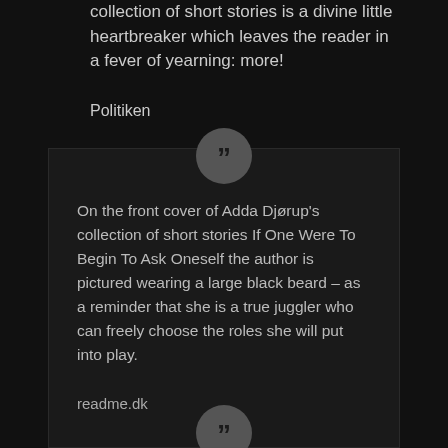collection of short stories is a divine little heartbreaker which leaves the reader in a fever of yearning: more!
Politiken
[Figure (illustration): Closing quote mark icon in a grey circle]
On the front cover of Adda Djørup's collection of short stories If One Were To Begin To Ask Oneself the author is pictured wearing a large black beard – as a reminder that she is a true juggler who can freely choose the roles she will put into play.
readme.dk
[Figure (illustration): Closing quote mark icon in a grey circle]